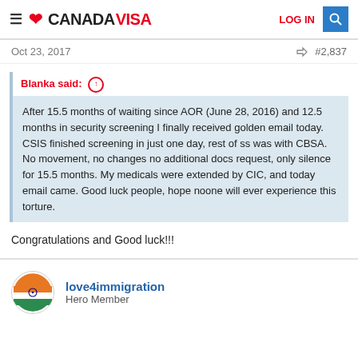CANADAVISA — LOG IN
Oct 23, 2017   #2,837
Blanka said: ↑
After 15.5 months of waiting since AOR (June 28, 2016) and 12.5 months in security screening I finally received golden email today. CSIS finished screening in just one day, rest of ss was with CBSA. No movement, no changes no additional docs request, only silence for 15.5 months. My medicals were extended by CIC, and today email came. Good luck people, hope noone will ever experience this torture.
Congratulations and Good luck!!!
love4immigration
Hero Member